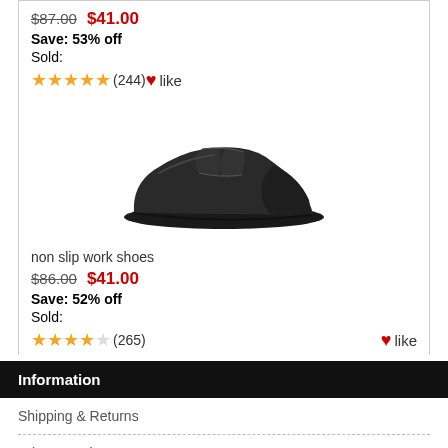$87.00  $41.00
Save: 53% off
Sold:
★★★★★ (244)  ♥ like
[Figure (photo): Black non-slip work shoe, side view, slip-on style]
non slip work shoes
$86.00  $41.00
Save: 52% off
Sold:
★★★★☆ (265)  ♥ like
Information
Shipping & Returns
Privacy Notice